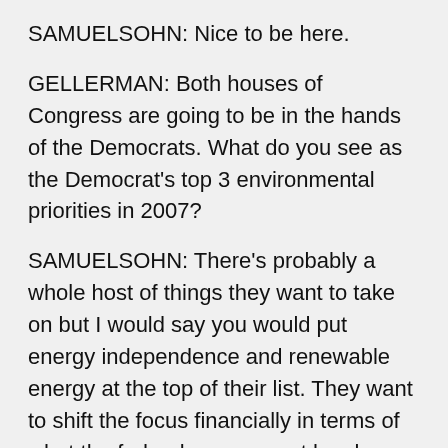SAMUELSOHN: Nice to be here.
GELLERMAN: Both houses of Congress are going to be in the hands of the Democrats. What do you see as the Democrat's top 3 environmental priorities in 2007?
SAMUELSOHN: There's probably a whole host of things they want to take on but I would say you would put energy independence and renewable energy at the top of their list. They want to shift the focus financially in terms of what the federal government has been spending from oil and gas industries to stimulating solar and wind, renewable energy resources. I think climate change is one of their top priorities. It's one of the bigger heavier lifts that they'll pick up. And then oversight of the Bush administration is something that will probably be the easiest thing for them to do. They can hold hearings in